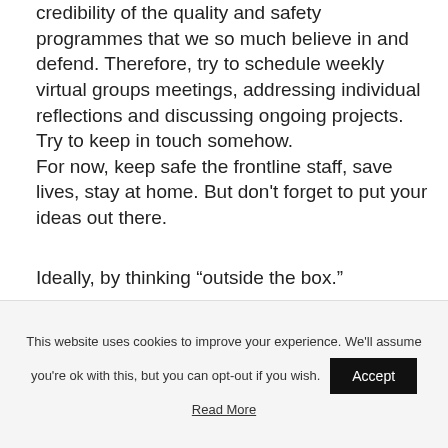credibility of the quality and safety programmes that we so much believe in and defend. Therefore, try to schedule weekly virtual groups meetings, addressing individual reflections and discussing ongoing projects. Try to keep in touch somehow.
For now, keep safe the frontline staff, save lives, stay at home. But don't forget to put your ideas out there.
Ideally, by thinking “outside the box.”
Tag Cloud
This website uses cookies to improve your experience. We'll assume you're ok with this, but you can opt-out if you wish.
Read More